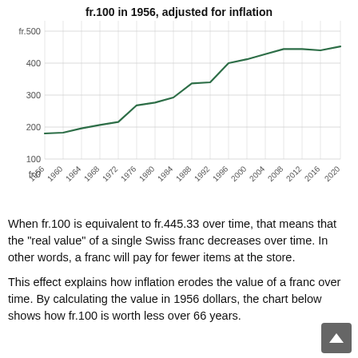[Figure (line-chart): fr.100 in 1956, adjusted for inflation]
When fr.100 is equivalent to fr.445.33 over time, that means that the "real value" of a single Swiss franc decreases over time. In other words, a franc will pay for fewer items at the store.
This effect explains how inflation erodes the value of a franc over time. By calculating the value in 1956 dollars, the chart below shows how fr.100 is worth less over 66 years.